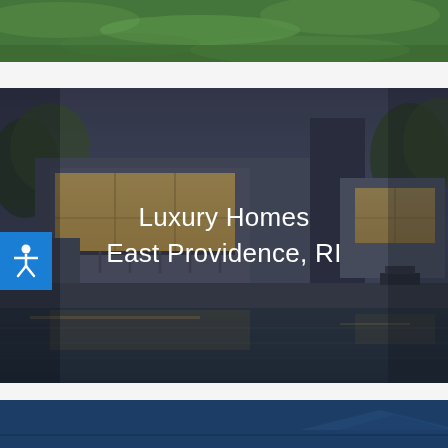[Figure (photo): Partial view of green grass lawn at top of page]
[Figure (photo): Modern luxury home at dusk with pool reflection, dark blue/grey geometric architecture with illuminated windows]
Luxury Homes
East Providence, RI
[Figure (photo): Dark blue background with partial view of a house rooftop, bottom section of page]